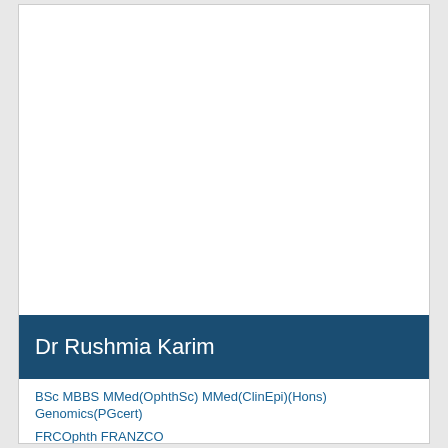[Figure (photo): Portrait photo area of Dr Rushmia Karim (white/blank space shown)]
Dr Rushmia Karim
BSc MBBS MMed(OphthSc) MMed(ClinEpi)(Hons) Genomics(PGcert)
FRCOphth FRANZCO